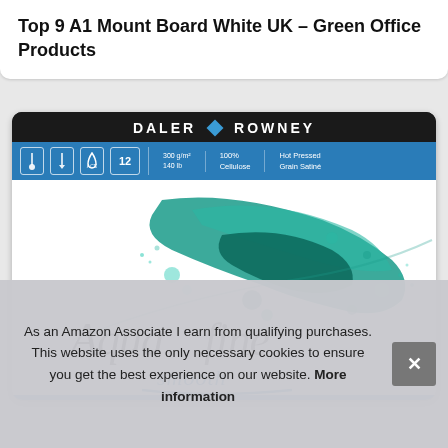Top 9 A1 Mount Board White UK – Green Office Products
[Figure (photo): Daler Rowney Aquafine Smooth watercolour paper pad product image. Shows black header with DALER ROWNEY logo and blue diamond, blue specification bar showing icons and specs: 300 g/m², 140 lb, 100% Cellulose, Hot Pressed Grain Satiné. Main area shows white background with teal/turquoise watercolour paint splashes and the Aquafine smooth branding in italic script with a blue swoosh.]
As an Amazon Associate I earn from qualifying purchases. This website uses the only necessary cookies to ensure you get the best experience on our website. More information